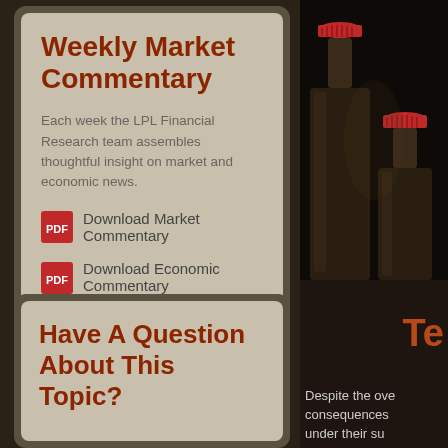Weekly Market Commentary
Each week the LPL Financial Research team assembles thoughtful insight on market and economic news.
Download Market Commentary
Download Economic Commentary
[Figure (photo): Close-up photo of glass bottles with red bottle caps on a dark background]
Te
Despite the ove consequences under their su
Have A Question About This Topic?